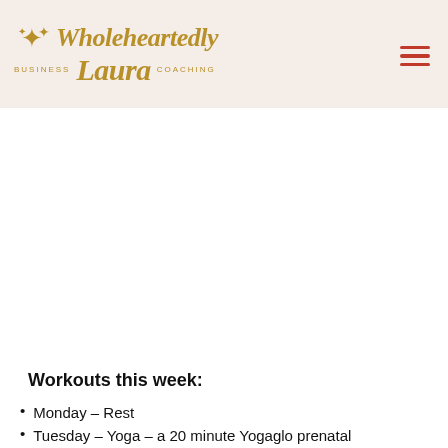Wholeheartedly Laura Business Coaching
Workouts this week:
Monday – Rest
Tuesday – Yoga – a 20 minute Yogaglo prenatal workout